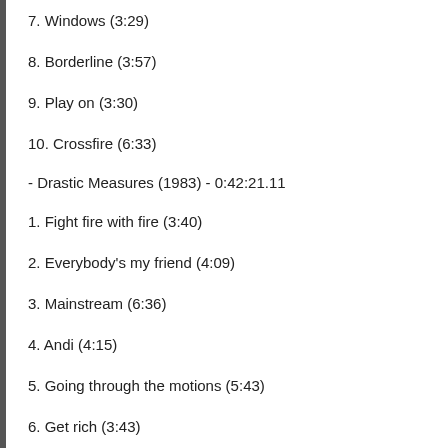7. Windows (3:29)
8. Borderline (3:57)
9. Play on (3:30)
10. Crossfire (6:33)
- Drastic Measures (1983) - 0:42:21.11
1. Fight fire with fire (3:40)
2. Everybody's my friend (4:09)
3. Mainstream (6:36)
4. Andi (4:15)
5. Going through the motions (5:43)
6. Get rich (3:43)
7. Don't take your love away (3:44)
8. End of the age (4:33)
9. Incident on a bridge (5:37)